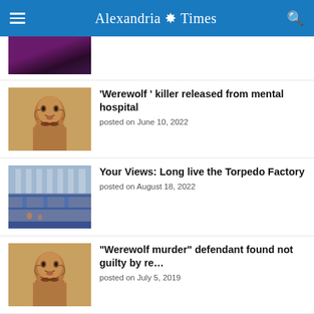Alexandria Times
[Figure (photo): Partial thumbnail of a dark purple/blue scene, article image cropped at top]
[Figure (photo): Headshot of a man with dark hair and beard, brown background — associated with Werewolf killer article]
'Werewolf ' killer released from mental hospital
posted on June 10, 2022
[Figure (photo): Indoor transit station with blue lighting, long concourse with people — associated with Torpedo Factory article]
Your Views: Long live the Torpedo Factory
posted on August 18, 2022
[Figure (photo): Headshot of a man with dark hair and beard — associated with Werewolf murder defendant article]
“Werewolf murder” defendant found not guilty by re…
posted on July 5, 2019
LEGAL NOTICES